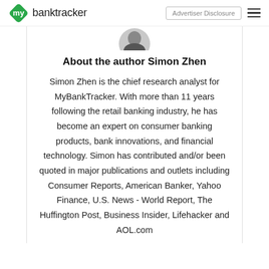mybanktracker | Advertiser Disclosure
[Figure (photo): Circular profile photo of Simon Zhen, partially visible at top]
About the author Simon Zhen
Simon Zhen is the chief research analyst for MyBankTracker. With more than 11 years following the retail banking industry, he has become an expert on consumer banking products, bank innovations, and financial technology. Simon has contributed and/or been quoted in major publications and outlets including Consumer Reports, American Banker, Yahoo Finance, U.S. News - World Report, The Huffington Post, Business Insider, Lifehacker and AOL.com